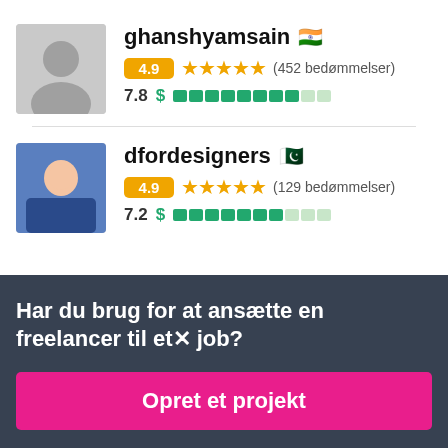ghanshyamsain 🇮🇳 – 4.9 ★★★★★ (452 bedømmelser) – 7.8 $ [bar]
dfordesigners 🇵🇰 – 4.9 ★★★★★ (129 bedømmelser) – 7.2 $ [bar]
Har du brug for at ansætte en freelancer til et job?
Opret et projekt